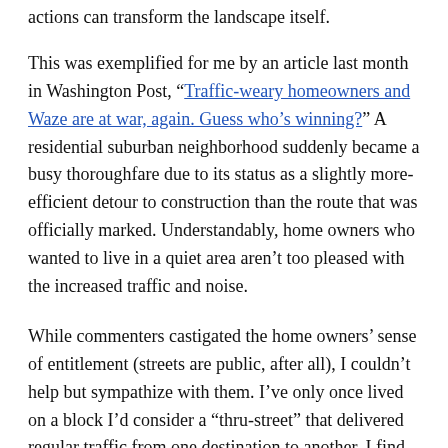actions can transform the landscape itself.
This was exemplified for me by an article last month in Washington Post, “Traffic-weary homeowners and Waze are at war, again. Guess who’s winning?” A residential suburban neighborhood suddenly became a busy thoroughfare due to its status as a slightly more-efficient detour to construction than the route that was officially marked. Understandably, home owners who wanted to live in a quiet area aren’t too pleased with the increased traffic and noise.
While commenters castigated the home owners’ sense of entitlement (streets are public, after all), I couldn’t help but sympathize with them. I’ve only once lived on a block I’d consider a “thru-street” that delivered regular traffic from one destination to another. I find the noise distracting to everything I do, from recording to sleeping. When we bought this house, part of the search criteria was to find a street that more or less lead